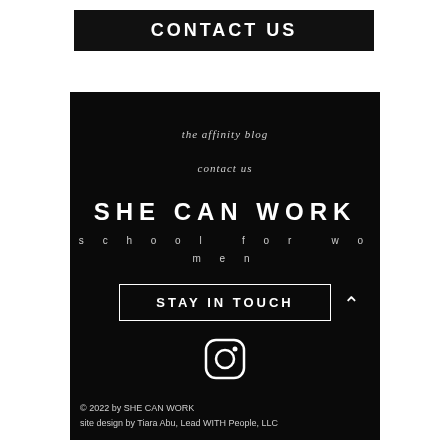CONTACT US
the affinity blog
contact us
SHE CAN WORK
school for women
STAY IN TOUCH
[Figure (logo): Instagram icon - circle with camera outline in white]
© 2022 by SHE CAN WORK
site design by Tiara Abu, Lead WITH People, LLC